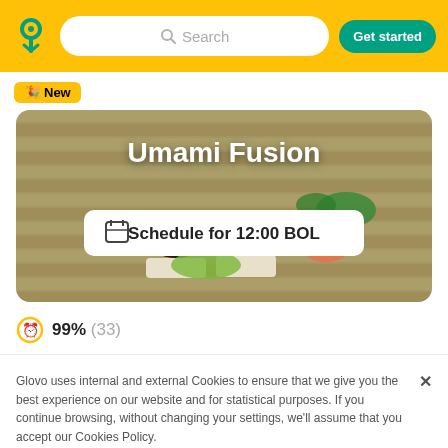Search | Get started
🎉 New
[Figure (photo): Sushi and Japanese food on a bamboo mat with title 'Umami Fusion' and a 'Schedule for 12:00 BOL' button overlay]
🕐 99% (33)
Glovo uses internal and external Cookies to ensure that we give you the best experience on our website and for statistical purposes. If you continue browsing, without changing your settings, we'll assume that you accept our Cookies Policy.
Find out more